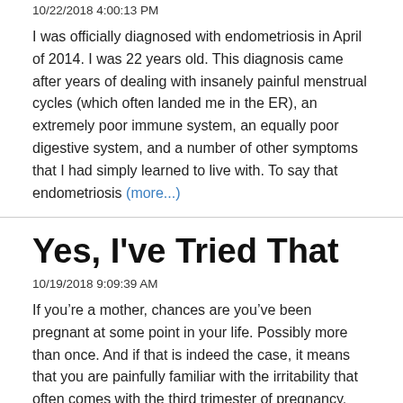10/22/2018 4:00:13 PM
I was officially diagnosed with endometriosis in April of 2014. I was 22 years old. This diagnosis came after years of dealing with insanely painful menstrual cycles (which often landed me in the ER), an extremely poor immune system, an equally poor digestive system, and a number of other symptoms that I had simply learned to live with. To say that endometriosis (more...)
Yes, I've Tried That
10/19/2018 9:09:39 AM
If you’re a mother, chances are you’ve been pregnant at some point in your life. Possibly more than once. And if that is indeed the case, it means that you are painfully familiar with the irritability that often comes with the third trimester of pregnancy. Your body is irritated with you for your increasingly ridiculous ineptitude at controlling your urine output (more...)
Parenting with Anxiety